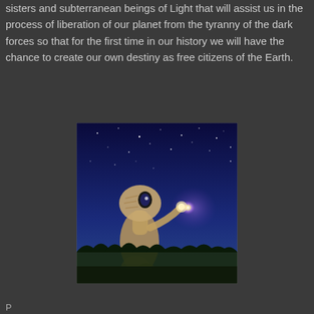sisters and subterranean beings of Light that will assist us in the process of liberation of our planet from the tyranny of the dark forces so that for the first time in our history we will have the chance to create our own destiny as free citizens of the Earth.
[Figure (photo): Movie poster image of E.T. the Extra-Terrestrial, an alien creature with a glowing fingertip pointing upward toward a bright light against a starry night sky, with silhouetted trees in the background.]
Partial text visible at bottom of page.